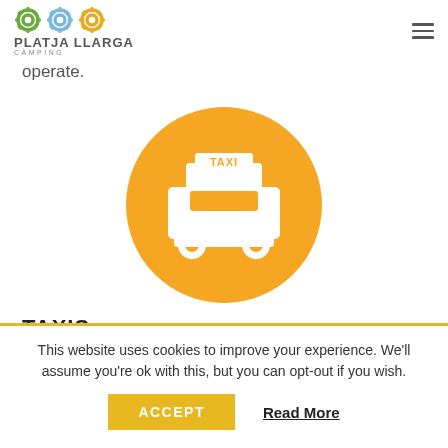Platja Llarga Càmping
operate.
[Figure (illustration): Orange circle with white taxi car icon facing front, with TAXI sign on roof]
TAXIS
Tarragona has different taxi companies. Its Services
This website uses cookies to improve your experience. We'll assume you're ok with this, but you can opt-out if you wish.